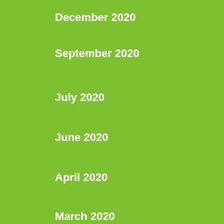December 2020
September 2020
July 2020
June 2020
April 2020
March 2020
February 2020
January 2020
December 2019